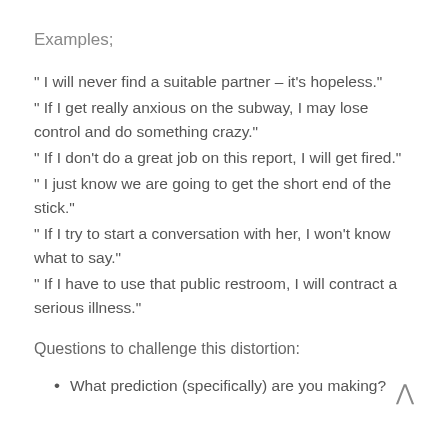Examples;
" I will never find a suitable partner – it's hopeless." " If I get really anxious on the subway, I may lose control and do something crazy." " If I don't do a great job on this report, I will get fired." " I just know we are going to get the short end of the stick." " If I try to start a conversation with her, I won't know what to say." " If I have to use that public restroom, I will contract a serious illness."
Questions to challenge this distortion:
What prediction (specifically) are you making?